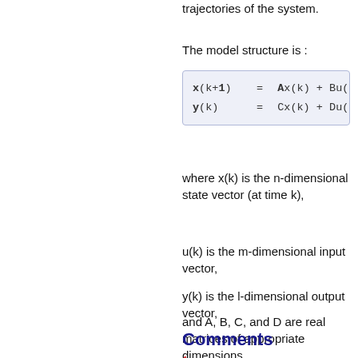trajectories of the system.
The model structure is :
where x(k) is the n-dimensional state vector (at time k),
u(k) is the m-dimensional input vector,
y(k) is the l-dimensional output vector,
and A, B, C, and D are real matrices of appropriate dimensions.
Comments
1